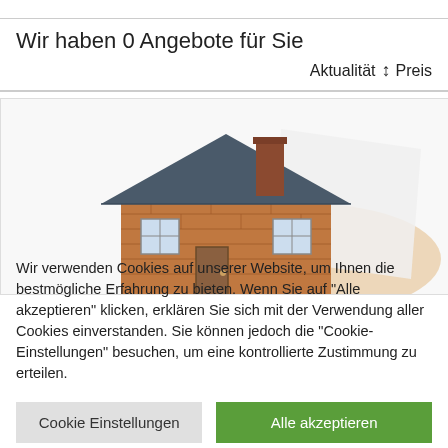Wir haben 0 Angebote für Sie
Aktualität ↕ Preis
[Figure (photo): A small model house with a brick facade, dark roof, and chimney, held in someone's hand against a white background]
Wir verwenden Cookies auf unserer Website, um Ihnen die bestmögliche Erfahrung zu bieten. Wenn Sie auf "Alle akzeptieren" klicken, erklären Sie sich mit der Verwendung aller Cookies einverstanden. Sie können jedoch die "Cookie-Einstellungen" besuchen, um eine kontrollierte Zustimmung zu erteilen.
Cookie Einstellungen
Alle akzeptieren